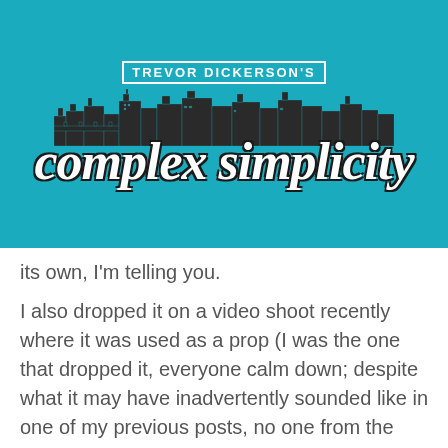[Figure (logo): Trevor Dickerson's Complex Simplicity blog logo — white bold text 'TREVOR DICKERSON'S' above a city skyline illustration, with large italic script text 'complex simplicity' below, all on a teal/cyan background.]
its own, I'm telling you.
I also dropped it on a video shoot recently where it was used as a prop (I was the one that dropped it, everyone calm down; despite what it may have inadvertently sounded like in one of my previous posts, no one from the church video team is to blame for anything). The case was dented in the corner and the slot-loading disc drive is hard to load now, so I'm most likely getting the entire